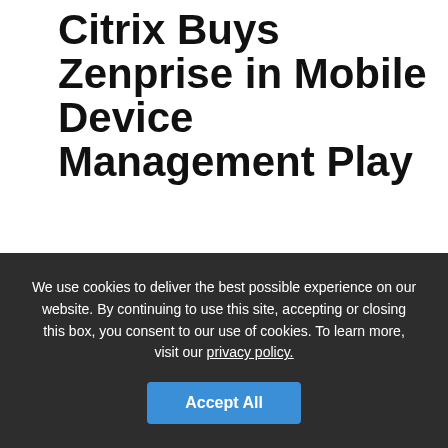Citrix Buys Zenprise in Mobile Device Management Play
With its planned acquisition of leading mobile device management (MDM) supplier Zenprise, Citrix is making a move to ensure its place in managing employee-owned tablets, PCs and smartphones, as well as cloud-based file sharing.
Terms of the agreement, announced last week, were undisclosed. Citrix did say it plans to integrate the Zenprise MobileManager, Zencloud and Zensuite
We use cookies to deliver the best possible experience on our website. By continuing to use this site, accepting or closing this box, you consent to our use of cookies. To learn more, visit our privacy policy.
Accept All